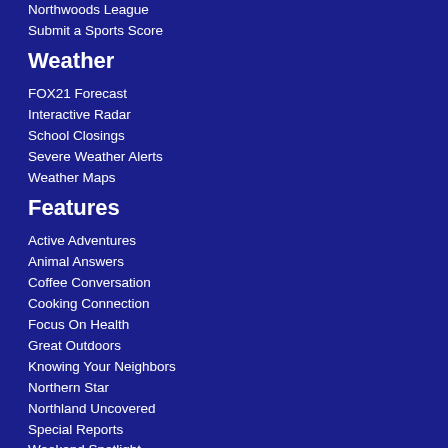Northwoods League
Submit a Sports Score
Weather
FOX21 Forecast
Interactive Radar
School Closings
Severe Weather Alerts
Weather Maps
Features
Active Adventures
Animal Answers
Coffee Conversation
Cooking Connection
Focus On Health
Great Outdoors
Knowing Your Neighbors
Northern Star
Northland Uncovered
Special Reports
Weekend Spotlight
About Fox21
Privacy Policy
Terms of Use
Contact Us
FCC Public File
FCC Applications